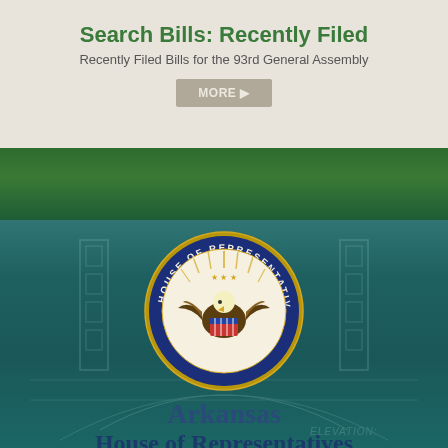Search Bills: Recently Filed
Recently Filed Bills for the 93rd General Assembly
MORE▶
[Figure (logo): Arkansas House of Representatives seal — circular blue and gold seal with eagle, shield, and text 'HOUSE OF REPRESENTATIVES ARKANSAS']
Arkansas
House of Representatives